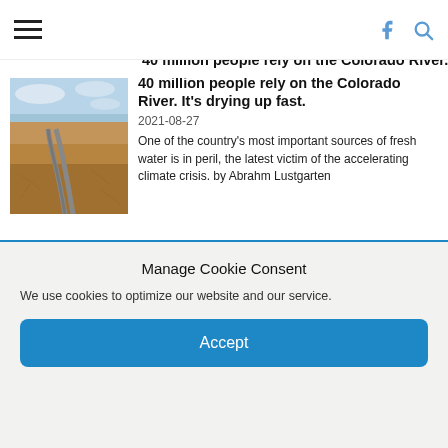Navigation bar with hamburger menu, Facebook icon, and search icon
[Figure (photo): Aerial photo of a dry desert landscape with a road running through it — Colorado River region]
40 million people rely on the Colorado River. It's drying up fast.
2021-08-27
One of the country's most important sources of fresh water is in peril, the latest victim of the accelerating climate crisis. by Abrahm Lustgarten Friday, August 27, 2021 [caption id="attachment_37584" align="aligncenter" width="2560"] Lake Mead, the nation's largest freshwater reservoir, has been losing water because of epochal...
DEFENDERS
[Figure (photo): Photo of a beach shoreline with ocean waves and rocks]
5 things to know about plastic pollution and how to stop it
2020-12-06
Manage Cookie Consent
We use cookies to optimize our website and our service.
Accept